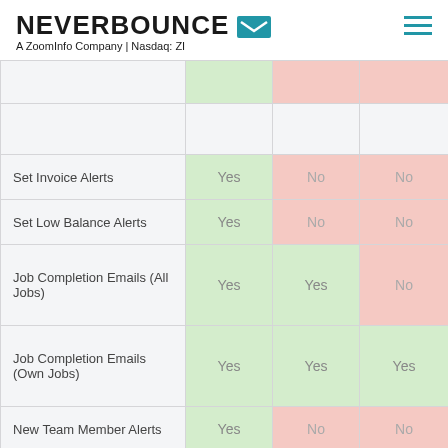NEVERBOUNCE — A ZoomInfo Company | Nasdaq: ZI
|  |  |  |  |
| --- | --- | --- | --- |
| Set Invoice Alerts | Yes | No | No |
| Set Low Balance Alerts | Yes | No | No |
| Job Completion Emails (All Jobs) | Yes | Yes | No |
| Job Completion Emails (Own Jobs) | Yes | Yes | Yes |
| New Team Member Alerts | Yes | No | No |
| Delete Account | Yes | No | No |
| Delete Users | Yes | Yes | No |
Invitees will receive an invite email with instructions on how to create an account, then a confirmation email with next steps on